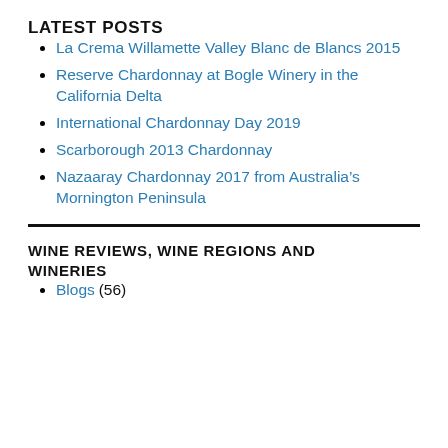LATEST POSTS
La Crema Willamette Valley Blanc de Blancs 2015
Reserve Chardonnay at Bogle Winery in the California Delta
International Chardonnay Day 2019
Scarborough 2013 Chardonnay
Nazaaray Chardonnay 2017 from Australia’s Mornington Peninsula
WINE REVIEWS, WINE REGIONS AND WINERIES
Blogs (56)